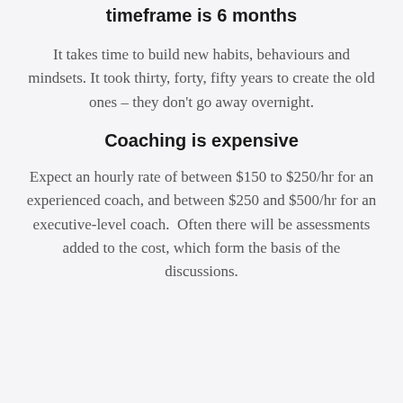timeframe is 6 months
It takes time to build new habits, behaviours and mindsets. It took thirty, forty, fifty years to create the old ones – they don't go away overnight.
Coaching is expensive
Expect an hourly rate of between $150 to $250/hr for an experienced coach, and between $250 and $500/hr for an executive-level coach.  Often there will be assessments added to the cost, which form the basis of the discussions.